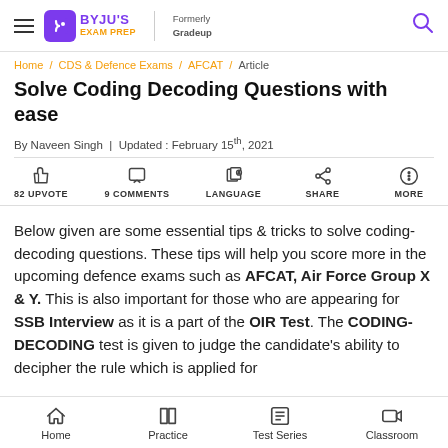BYJU'S EXAM PREP | Formerly Gradeup
Home / CDS & Defence Exams / AFCAT / Article
Solve Coding Decoding Questions with ease
By Naveen Singh  |  Updated : February 15th, 2021
82 UPVOTE  9 COMMENTS  LANGUAGE  SHARE  MORE
Below given are some essential tips & tricks to solve coding-decoding questions. These tips will help you score more in the upcoming defence exams such as AFCAT, Air Force Group X & Y. This is also important for those who are appearing for SSB Interview as it is a part of the OIR Test. The CODING-DECODING test is given to judge the candidate's ability to decipher the rule which is applied for coding a particular message and then to apply the same
Home  Practice  Test Series  Classroom